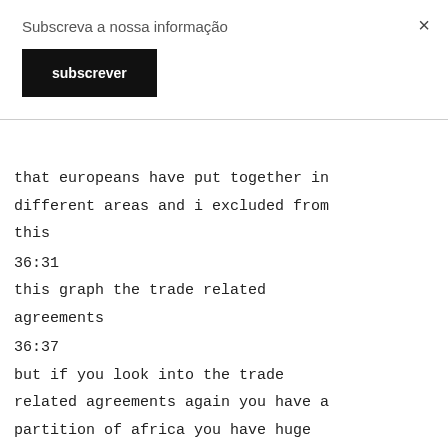Subscreva a nossa informação
subscrever
that europeans have put together in different areas and i excluded from this
36:31
this graph the trade related agreements
36:37
but if you look into the trade related agreements again you have a partition of africa you have huge